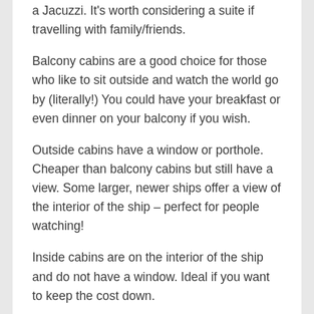a Jacuzzi. It's worth considering a suite if travelling with family/friends.
Balcony cabins are a good choice for those who like to sit outside and watch the world go by (literally!) You could have your breakfast or even dinner on your balcony if you wish.
Outside cabins have a window or porthole. Cheaper than balcony cabins but still have a view. Some larger, newer ships offer a view of the interior of the ship – perfect for people watching!
Inside cabins are on the interior of the ship and do not have a window. Ideal if you want to keep the cost down.
Dining on board is an important factor too and can vary between ships. There may be world famous chefs & speciality restaurants alongside the main restaurants. The larger the ship the more variety but typically based fare...